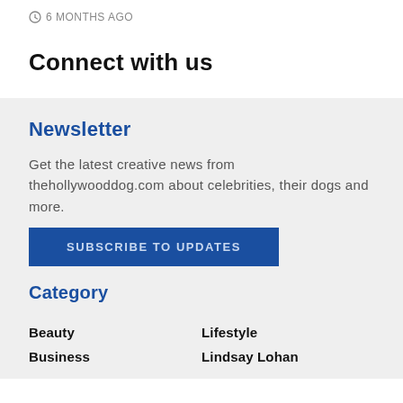6 MONTHS AGO
Connect with us
Newsletter
Get the latest creative news from thehollywooddog.com about celebrities, their dogs and more.
SUBSCRIBE TO UPDATES
Category
Beauty
Lifestyle
Business
Lindsay Lohan